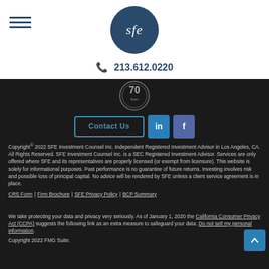[Figure (logo): SFE Investment Counsel logo - circular dark blue badge with 'sfe' text in white italic serif font]
213.612.0220
[Figure (illustration): 70 Years badge/seal in grey on dark background]
[Figure (other): Contact Us button, LinkedIn button, Facebook button]
Copyright© 2022 SFE Investment Counsel Inc. Independent Registered Investment Advisor in Los Angeles, CA. All Rights Reserved. SFE Investment Counsel Inc. is a SEC Registered Investment Advisor. Services are only offered where SFE and its representatives are properly licensed (or exempt from licensure). This website is solely for informational purposes. Past performance is no guarantee of future returns. Investing involves risk and possible loss of principal capital. No advice will be rendered by SFE unless a client service agreement is in place.
CRS Form | Firm Brochure | SFE Privacy Policy | BCP Summary
We take protecting your data and privacy very seriously. As of January 1, 2020 the California Consumer Privacy Act (CCPA) suggests the following link as an extra measure to safeguard your data: Do not sell my personal information.
Copyright 2022 FMG Suite.